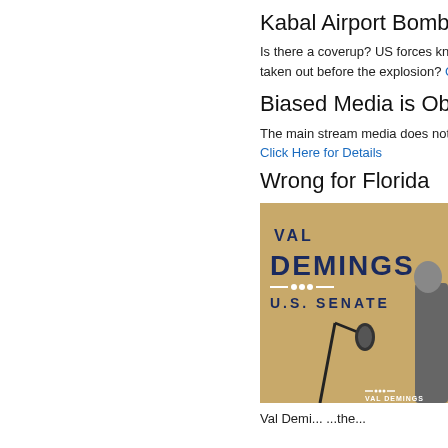Kabal Airport Bombing
Is there a coverup? US forces kne... taken out before the explosion? C...
Biased Media is Obvious...
The main stream media does not...
Click Here for Details
Wrong for Florida
[Figure (photo): Photo of Val Demings U.S. Senate campaign signage with microphone stand in foreground and person partially visible on right]
Val Demi... ...the...